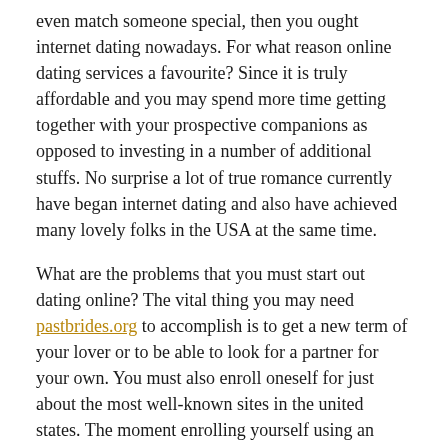even match someone special, then you ought internet dating nowadays. For what reason online dating services a favourite? Since it is truly affordable and you may spend more time getting together with your prospective companions as opposed to investing in a number of additional stuffs. No surprise a lot of true romance currently have began internet dating and also have achieved many lovely folks in the USA at the same time.
What are the problems that you must start out dating online? The vital thing you may need pastbrides.org to accomplish is to get a new term of your lover or to be able to look for a partner for your own. You must also enroll oneself for just about the most well-known sites in the united states. The moment enrolling yourself using an online dating site, you could be required to your data. The very best online dating sites sites will reveal the various varieties of account layouts.